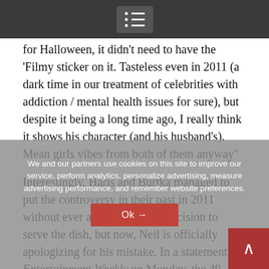[Navigation menu icon]
for Halloween, it didn't need to have the 'Filmy sticker on it. Tasteless even in 2011 (a dark time in our treatment of celebrities with addiction / mental health issues for sure), but despite it being a long time ago, I really think it shows his character (and his husband's). Mean girls vibes from both of them anyway”
Interestingly, Haris and Burtka managed to put the controversy in their past in 2011 without ever addressing their decision to serve the dish, but now, Neil is officially apologizing for his mistake. In a statement to Entertainment Weekly on Monday, the 49-year-old said,
“A photo recently resurfaced from a Halloween-themed party my husband and I hosted 11 years ago. It was regrettable then, and it remains
We and our partners use cookies on this site to improve our service, perform analytics, personalize advertising, measure advertising performance, and remember website preferences.